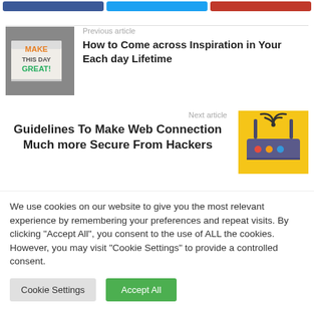[Figure (other): Three social share buttons: blue Facebook, light blue Twitter, red (Pinterest/other)]
[Figure (photo): Lightbox sign reading MAKE THIS DAY GREAT! in colorful letters]
Previous article
How to Come across Inspiration in Your Each day Lifetime
Next article
Guidelines To Make Web Connection Much more Secure From Hackers
[Figure (illustration): WiFi router illustration on yellow background]
We use cookies on our website to give you the most relevant experience by remembering your preferences and repeat visits. By clicking "Accept All", you consent to the use of ALL the cookies. However, you may visit "Cookie Settings" to provide a controlled consent.
Cookie Settings
Accept All